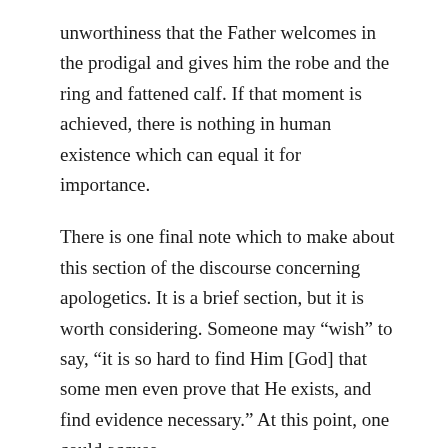unworthiness that the Father welcomes in the prodigal and gives him the robe and the ring and fattened calf. If that moment is achieved, there is nothing in human existence which can equal it for importance.
There is one final note which to make about this section of the discourse concerning apologetics. It is a brief section, but it is worth considering. Someone may “wish” to say, “it is so hard to find Him [God] that some men even prove that He exists, and find evidence necessary.” At this point, one could accuse